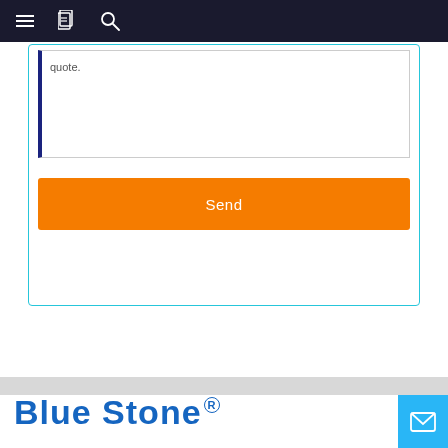Navigation bar with menu, book, and search icons
quote.
Send
[Figure (logo): Blue Stone registered trademark logo in blue bold rounded font with registered R symbol]
[Figure (other): Cyan/light blue mail envelope icon button in bottom right corner]